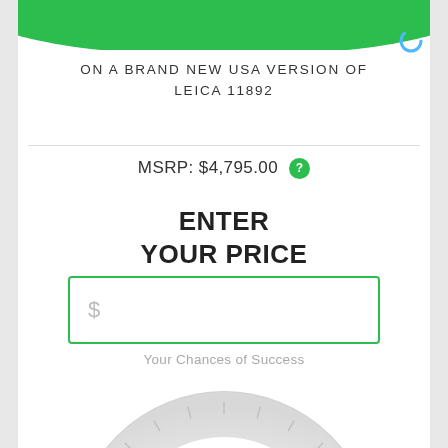[Figure (screenshot): Green curved header bar at top of mobile app screen]
ON A BRAND NEW USA VERSION OF LEICA 11892
MSRP: $4,795.00 ?
ENTER YOUR PRICE
[Figure (other): Price input text field with dollar sign placeholder]
Your Chances of Success
[Figure (other): Semicircular gauge/speedometer showing chances of success, partially visible at bottom]